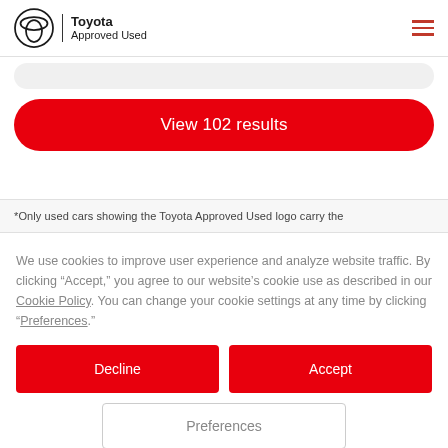Toyota Approved Used
View 102 results
*Only used cars showing the Toyota Approved Used logo carry the
We use cookies to improve user experience and analyze website traffic. By clicking “Accept,” you agree to our website’s cookie use as described in our Cookie Policy. You can change your cookie settings at any time by clicking “Preferences”.
Decline
Accept
Preferences